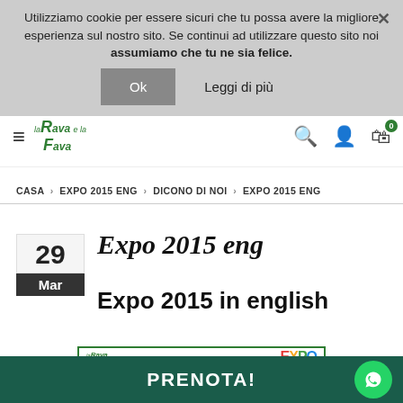Utilizziamo cookie per essere sicuri che tu possa avere la migliore esperienza sul nostro sito. Se continui ad utilizzare questo sito noi assumiamo che tu ne sia felice.
Ok
Leggi di più
la Rava e la Fava
CASA > EXPO 2015 ENG > DICONO DI NOI > EXPO 2015 ENG
Expo 2015 eng
Expo 2015 in english
[Figure (infographic): Expo menu promotional banner for LaRavaeLaFava restaurant, showing EXPO logo, dates from 1 Maggio to 31 Ottobre 2015, reserved for Expo Milano visitors, €27 per person]
PRENOTA!